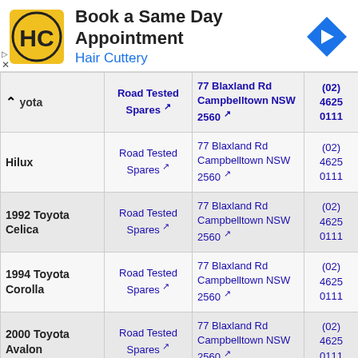[Figure (illustration): Hair Cuttery advertisement banner with logo (HC in black/yellow circle), text 'Book a Same Day Appointment / Hair Cuttery', and a blue navigation arrow icon on the right. Small play and close controls at bottom-left.]
| ^  ...yota | Road Tested Spares | 77 Blaxland Rd Campbelltown NSW 2560 | (02) 4625 0111 |
| --- | --- | --- | --- |
| Hilux | Road Tested Spares ↗ | 77 Blaxland Rd Campbelltown NSW 2560 ↗ | (02) 4625 0111 |
| 1992 Toyota Celica | Road Tested Spares ↗ | 77 Blaxland Rd Campbelltown NSW 2560 ↗ | (02) 4625 0111 |
| 1994 Toyota Corolla | Road Tested Spares ↗ | 77 Blaxland Rd Campbelltown NSW 2560 ↗ | (02) 4625 0111 |
| 2000 Toyota Avalon | Road Tested Spares ↗ | 77 Blaxland Rd Campbelltown NSW 2560 ↗ | (02) 4625 0111 |
| 1993 Toyota Hilux | Road Tested Spares ↗ | 77 Blaxland Rd Campbelltown NSW 2560 ↗ | (02) 4625 0111 |